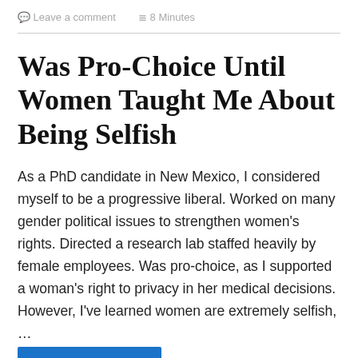Leave a comment   8 Minutes
Was Pro-Choice Until Women Taught Me About Being Selfish
As a PhD candidate in New Mexico, I considered myself to be a progressive liberal. Worked on many gender political issues to strengthen women's rights. Directed a research lab staffed heavily by female employees. Was pro-choice, as I supported a woman's right to privacy in her medical decisions. However, I've learned women are extremely selfish, …